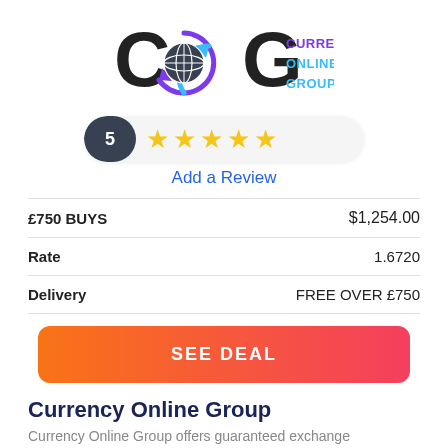[Figure (logo): Currency Online Group logo with COG letters and globe icon]
[Figure (infographic): 5-star rating pill showing '5' in dark badge and five gold stars]
Add a Review
|  |  |
| --- | --- |
| £750 BUYS | $1,254.00 |
| Rate | 1.6720 |
| Delivery | FREE OVER £750 |
[Figure (other): SEE DEAL button with orange-to-pink gradient]
Currency Online Group
Currency Online Group offers guaranteed exchange